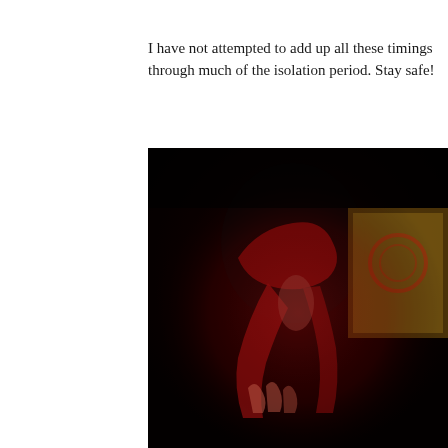I have not attempted to add up all these timings through much of the isolation period. Stay safe!
[Figure (photo): A dark, dramatic photograph of a person viewed from behind, wearing red cloth around their head and shoulders. In the background are colorful decorative elements with red and gold tones suggesting a cultural or ceremonial setting. The image is very dark with rich red highlights.]